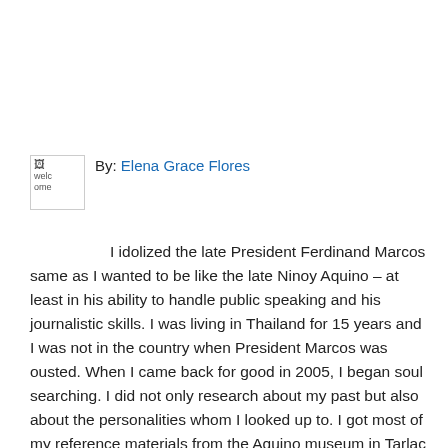[Figure (photo): Broken image placeholder labeled 'welcome']
By: Elena Grace Flores
I idolized the late President Ferdinand Marcos same as I wanted to be like the late Ninoy Aquino – at least in his ability to handle public speaking and his journalistic skills. I was living in Thailand for 15 years and I was not in the country when President Marcos was ousted. When I came back for good in 2005, I began soul searching. I did not only research about my past but also about the personalities whom I looked up to. I got most of my reference materials from the Aquino museum in Tarlac for my research on Ninoy – but I was dismayed for the fact that he was using his media capabilities to rebel against the government despite not making a move to verify